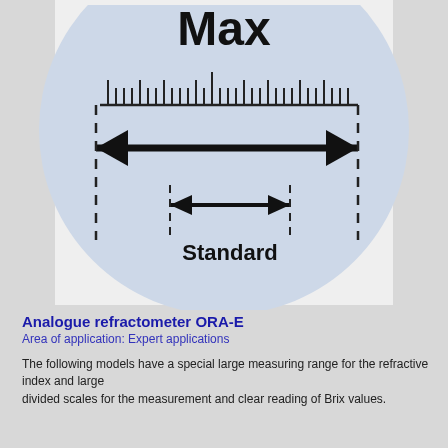[Figure (schematic): Diagram of a refractometer measuring circle showing a large 'Max' double-headed arrow spanning the full width of a light blue circle with a ruler scale across the top, and a smaller 'Standard' double-headed arrow in the center, both with dashed vertical boundary lines.]
Analogue refractometer ORA-E
Area of application: Expert applications
The following models have a special large measuring range for the refractive index and large divided scales for the measurement and clear reading of Brix values.